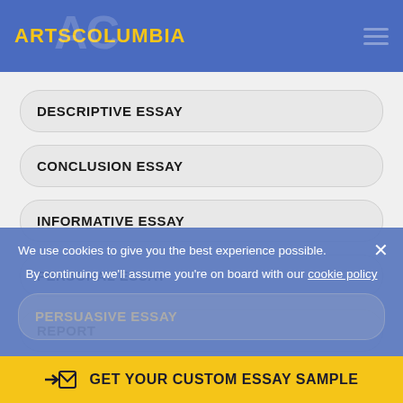ARTSCOLUMBIA
DESCRIPTIVE ESSAY
CONCLUSION ESSAY
INFORMATIVE ESSAY
PERSONAL ESSAY
REPORT
PERSUASIVE ESSAY
We use cookies to give you the best experience possible. By continuing we'll assume you're on board with our cookie policy
GET YOUR CUSTOM ESSAY SAMPLE